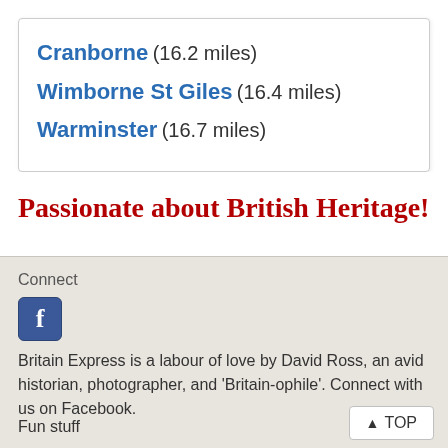Cranborne (16.2 miles)
Wimborne St Giles (16.4 miles)
Warminster (16.7 miles)
Passionate about British Heritage!
Connect
[Figure (logo): Facebook logo icon — blue rounded square with white lowercase 'f']
Britain Express is a labour of love by David Ross, an avid historian, photographer, and 'Britain-ophile'. Connect with us on Facebook.
Fun stuff
TOP